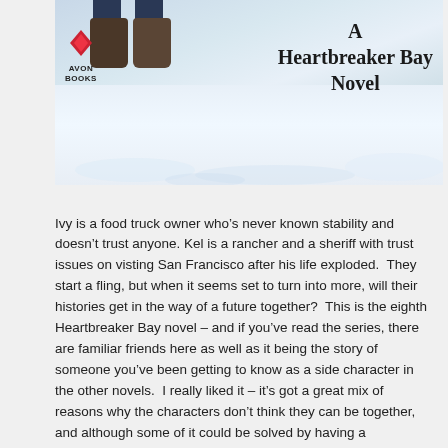[Figure (photo): Book cover photo showing boots standing in snow with text 'A Heartbreaker Bay Novel' and Avon Books logo]
Ivy is a food truck owner who’s never known stability and doesn’t trust anyone. Kel is a rancher and a sheriff with trust issues on visting San Francisco after his life exploded.  They start a fling, but when it seems set to turn into more, will their histories get in the way of a future together?  This is the eighth Heartbreaker Bay novel – and if you’ve read the series, there are familiar friends here as well as it being the story of someone you’ve been getting to know as a side character in the other novels.  I really liked it – it’s got a great mix of reasons why the characters don’t think they can be together, and although some of it could be solved by having a conversation, you completely understand why that conversation isn’t happening!